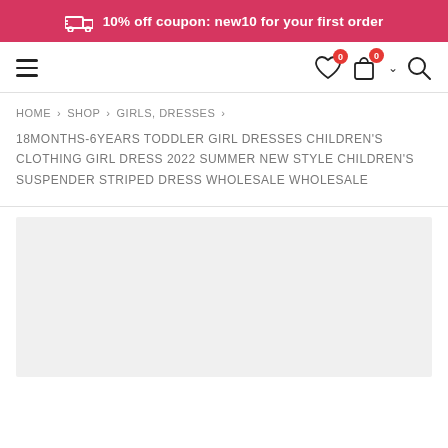10% off coupon: new10 for your first order
HOME > SHOP > GIRLS, DRESSES >
18MONTHS-6YEARS TODDLER GIRL DRESSES CHILDREN'S CLOTHING GIRL DRESS 2022 SUMMER NEW STYLE CHILDREN'S SUSPENDER STRIPED DRESS WHOLESALE WHOLESALE
[Figure (photo): Product image placeholder - light gray rectangle]